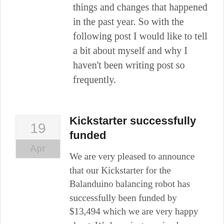things and changes that happened in the past year. So with the following post I would like to tell a bit about myself and why I haven't been writing post so frequently.
Kickstarter successfully funded
We are very pleased to announce that our Kickstarter for the Balanduino balancing robot has successfully been funded by $13,494 which we are very happy about. We have just received stickers from our printing company and have decided to give a little bonus in form of a signed Balanduino post card.